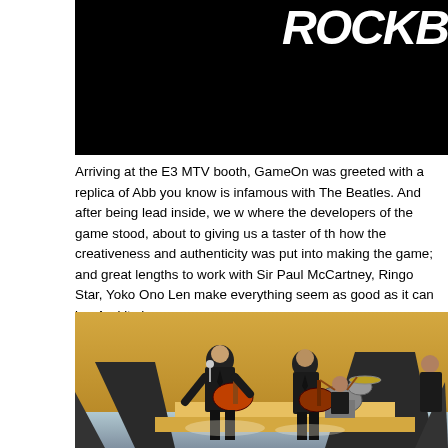[Figure (screenshot): Top portion of a Rock Band game screenshot with black background and 'ROCKB' text partially visible in white bold font]
Arriving at the E3 MTV booth, GameOn was greeted with a replica of Abb you know is infamous with The Beatles. And after being lead inside, we w where the developers of the game stood, about to giving us a taster of th how the creativeness and authenticity was put into making the game; and great lengths to work with Sir Paul McCartney, Ringo Star, Yoko Ono Len make everything seem as good as it can be. And it shows.
[Figure (screenshot): 3D animated rendering of The Beatles performing on stage — four band members in black suits with guitars and drums against a golden/yellow stylized stage background]